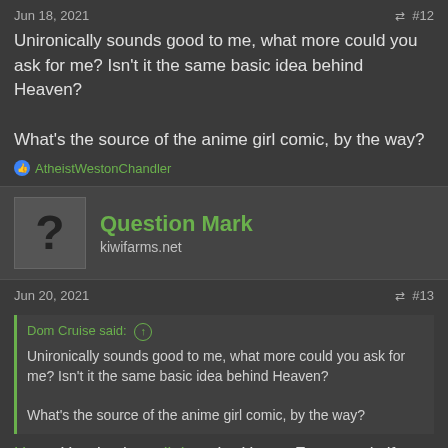Jun 18, 2021  #12
Unironically sounds good to me, what more could you ask for me? Isn't it the same basic idea behind Heaven?

What's the source of the anime girl comic, by the way?
AtheistWestonChandler
Question Mark
kiwifarms.net
Jun 20, 2021  #13
Dom Cruise said: ↑
Unironically sounds good to me, what more could you ask for me? Isn't it the same basic idea behind Heaven?
What's the source of the anime girl comic, by the way?
Here. Here's also a link to the Happy Face comic if you're interested.